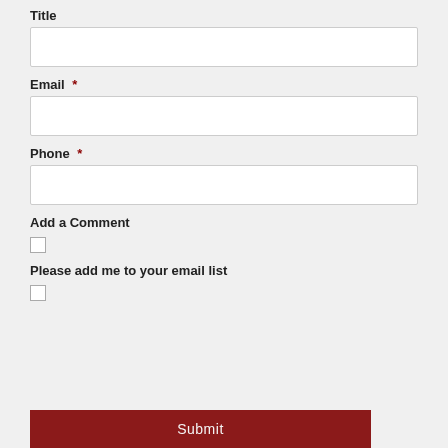Title
Email *
Phone *
Add a Comment
Please add me to your email list
Submit